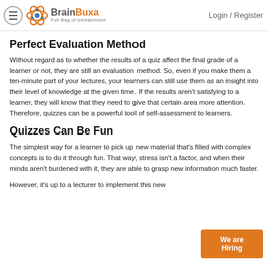BrainBuxa — Full Bag of Infotainment | Login / Register
Perfect Evaluation Method
Without regard as to whether the results of a quiz affect the final grade of a learner or not, they are still an evaluation method. So, even if you make them a ten-minute part of your lectures, your learners can still use them as an insight into their level of knowledge at the given time. If the results aren't satisfying to a learner, they will know that they need to give that certain area more attention. Therefore, quizzes can be a powerful tool of self-assessment to learners.
Quizzes Can Be Fun
The simplest way for a learner to pick up new material that's filled with complex concepts is to do it through fun. That way, stress isn't a factor, and when their minds aren't burdened with it, they are able to grasp new information much faster.
However, it's up to a lecturer to implement this new